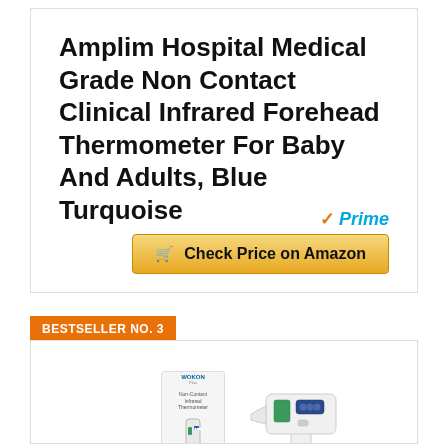Amplim Hospital Medical Grade Non Contact Clinical Infrared Forehead Thermometer For Baby And Adults, Blue Turquoise
[Figure (other): Amazon Prime logo with checkmark and 'Check Price on Amazon' button with shopping cart icon]
BESTSELLER NO. 3
[Figure (photo): Photo of Wokon infrared forehead thermometer product box and the thermometer device shown side by side against a white background]